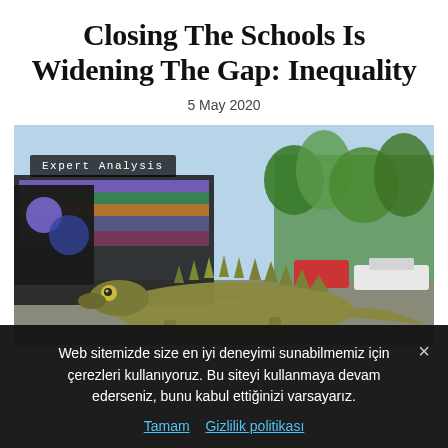Closing The Schools Is Widening The Gap: Inequality
5 May 2020
[Figure (photo): A large iguana crossing a street with colorful buses and cars in the background, bright sunny day with green trees. Overlay text badge reads 'Expert Analysis'.]
Web sitemizde size en iyi deneyimi sunabilmemiz için çerezleri kullanıyoruz. Bu siteyi kullanmaya devam ederseniz, bunu kabul ettiğinizi varsayarız.
Tamam   Gizlilik politikası